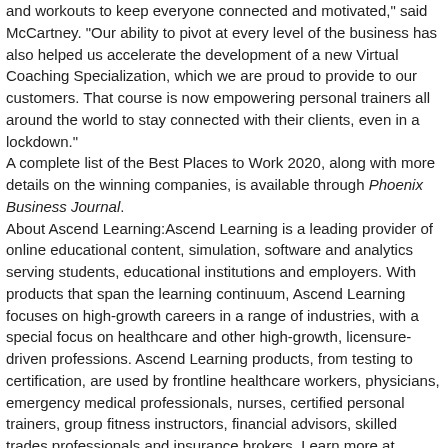and workouts to keep everyone connected and motivated," said McCartney. "Our ability to pivot at every level of the business has also helped us accelerate the development of a new Virtual Coaching Specialization, which we are proud to provide to our customers. That course is now empowering personal trainers all around the world to stay connected with their clients, even in a lockdown."
A complete list of the Best Places to Work 2020, along with more details on the winning companies, is available through Phoenix Business Journal.
About Ascend Learning:Ascend Learning is a leading provider of online educational content, simulation, software and analytics serving students, educational institutions and employers. With products that span the learning continuum, Ascend Learning focuses on high-growth careers in a range of industries, with a special focus on healthcare and other high-growth, licensure-driven professions. Ascend Learning products, from testing to certification, are used by frontline healthcare workers, physicians, emergency medical professionals, nurses, certified personal trainers, group fitness instructors, financial advisors, skilled trades professionals and insurance brokers. Learn more at www.ascendlearning.com.
About NASM: Now in its 33rd year, the National Academy of Sports Medicine (NASM) has remained the gold standard in fitness education due to the high quality of fitness professionals they produce and the scientific rigor of their programs. NASM offers a best in class Certified Personal Training (CPT) program